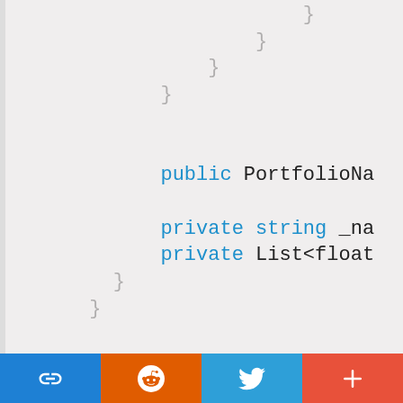[Figure (screenshot): Code snippet showing C# class with closing braces and partial class definition: public PortfolioNa..., private string _na..., private List<float...]
Now in the main Program.cs class we can assign our delegate to the